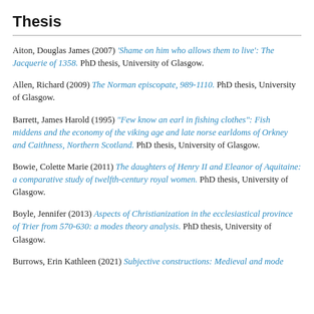Thesis
Aiton, Douglas James (2007) 'Shame on him who allows them to live': The Jacquerie of 1358. PhD thesis, University of Glasgow.
Allen, Richard (2009) The Norman episcopate, 989-1110. PhD thesis, University of Glasgow.
Barrett, James Harold (1995) "Few know an earl in fishing clothes": Fish middens and the economy of the viking age and late norse earldoms of Orkney and Caithness, Northern Scotland. PhD thesis, University of Glasgow.
Bowie, Colette Marie (2011) The daughters of Henry II and Eleanor of Aquitaine: a comparative study of twelfth-century royal women. PhD thesis, University of Glasgow.
Boyle, Jennifer (2013) Aspects of Christianization in the ecclesiastical province of Trier from 570-630: a modes theory analysis. PhD thesis, University of Glasgow.
Burrows, Erin Kathleen (2021) Subjective constructions: Medieval and mod...